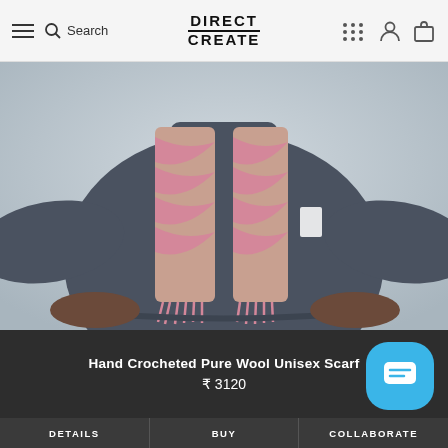Direct Create — Search, account, cart navigation
[Figure (photo): A person wearing a dark grey knit sweater with a hand crocheted pink and beige wool unisex scarf draped around their neck, showing tasseled ends hanging down.]
Hand Crocheted Pure Wool Unisex Scarf
₹ 3120
DETAILS
BUY
COLLABORATE